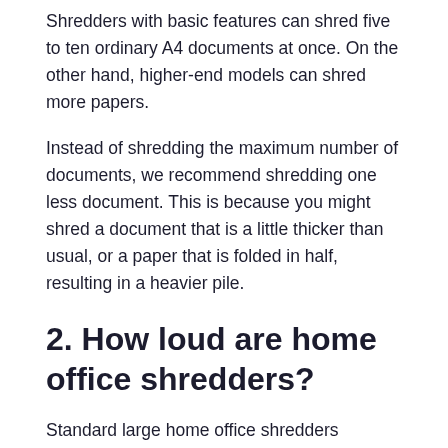Shredders with basic features can shred five to ten ordinary A4 documents at once. On the other hand, higher-end models can shred more papers.
Instead of shredding the maximum number of documents, we recommend shredding one less document. This is because you might shred a document that is a little thicker than usual, or a paper that is folded in half, resulting in a heavier pile.
2. How loud are home office shredders?
Standard large home office shredders produce noise equivalent to a normal conversation. Smaller under-desk shredders can be as quiet as 50 decibels (dB), which is comparable to the sound of rain falling on a driveway and well below the 85 dB danger level. The maximum decibel level that the human ear can take for more than 8 hours without causing damage to their